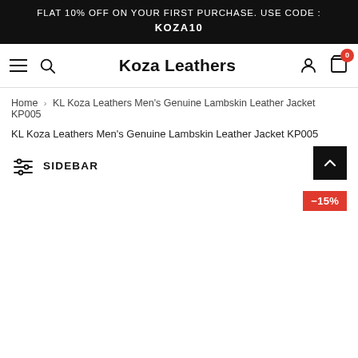FLAT 10% OFF ON YOUR FIRST PURCHASE. USE CODE : KOZA10
Koza Leathers
Home > KL Koza Leathers Men's Genuine Lambskin Leather Jacket KP005
SIDEBAR
-15%